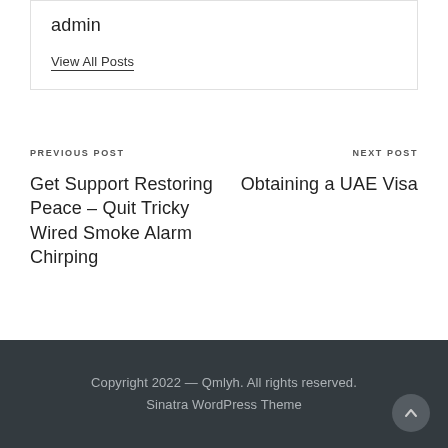admin
View All Posts
PREVIOUS POST
Get Support Restoring Peace – Quit Tricky Wired Smoke Alarm Chirping
NEXT POST
Obtaining a UAE Visa
Copyright 2022 — Qmlyh. All rights reserved. Sinatra WordPress Theme